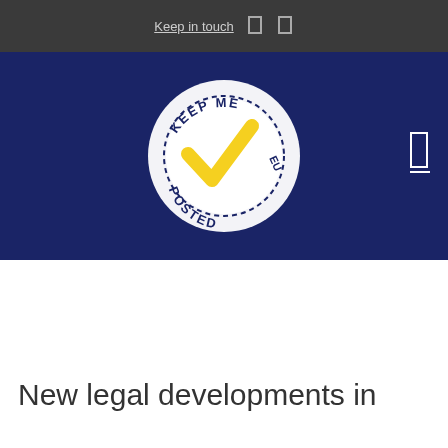Keep in touch
[Figure (logo): Keep Me Posted EU circular stamp logo with yellow checkmark on dark navy blue background]
New legal developments in